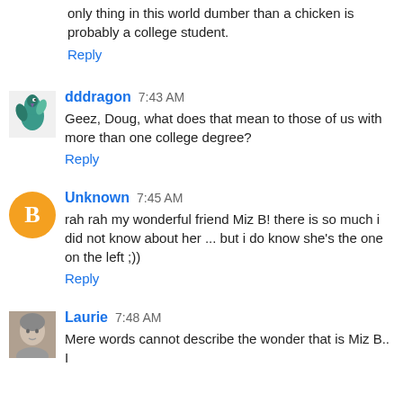only thing in this world dumber than a chicken is probably a college student.
Reply
dddragon 7:43 AM
Geez, Doug, what does that mean to those of us with more than one college degree?
Reply
Unknown 7:45 AM
rah rah my wonderful friend Miz B! there is so much i did not know about her ... but i do know she's the one on the left ;))
Reply
Laurie 7:48 AM
Mere words cannot describe the wonder that is Miz B.. I